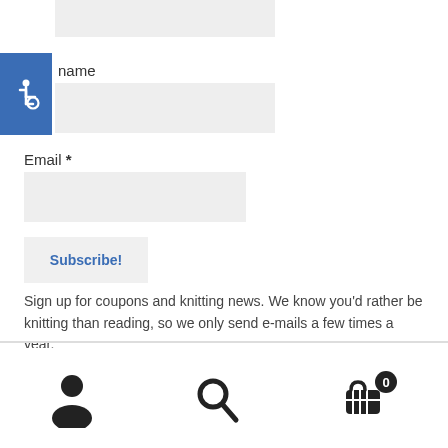[Figure (screenshot): Partially visible text input field at the top of the page]
[Figure (illustration): Blue square accessibility icon with wheelchair symbol]
name
[Figure (screenshot): Text input field for name]
Email *
[Figure (screenshot): Text input field for email]
[Figure (screenshot): Subscribe! button]
Sign up for coupons and knitting news. We know you'd rather be knitting than reading, so we only send e-mails a few times a year.
[Figure (illustration): Bottom navigation bar with user icon, search icon, and shopping cart icon with badge showing 0]